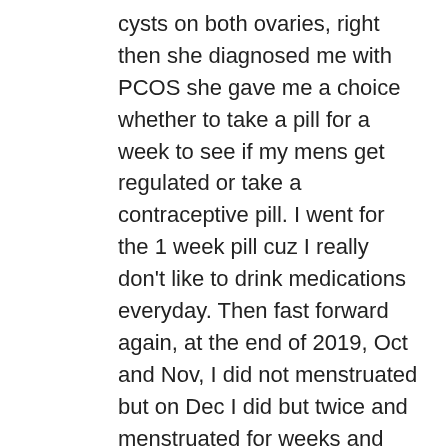cysts on both ovaries, right then she diagnosed me with PCOS she gave me a choice whether to take a pill for a week to see if my mens get regulated or take a contraceptive pill. I went for the 1 week pill cuz I really don't like to drink medications everyday. Then fast forward again, at the end of 2019, Oct and Nov, I did not menstruated but on Dec I did but twice and menstruated for weeks and both are heavy flow. So when 2020 comes I decided to take a pill but forgotten last January and when February comes I decided do it so I waited for my mens to come and when it did I started taking Diane-35. But after 5th day I stopped taking it, I stopped not because of depression but because of other side effects. My left leg and arm aches and my neck aches it feels like there's a pressure aroun my neck, I'm getting headaches and I'm having chest pains too. I